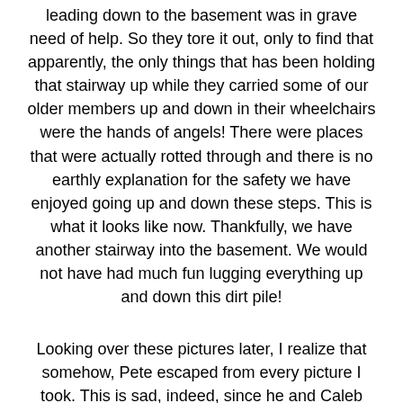leading down to the basement was in grave need of help. So they tore it out, only to find that apparently, the only things that has been holding that stairway up while they carried some of our older members up and down in their wheelchairs were the hands of angels! There were places that were actually rotted through and there is no earthly explanation for the safety we have enjoyed going up and down these steps. This is what it looks like now. Thankfully, we have another stairway into the basement. We would not have had much fun lugging everything up and down this dirt pile!
Looking over these pictures later, I realize that somehow, Pete escaped from every picture I took. This is sad, indeed, since he and Caleb and Joel were the ones who stayed until the bitter end to make sure the job got done.